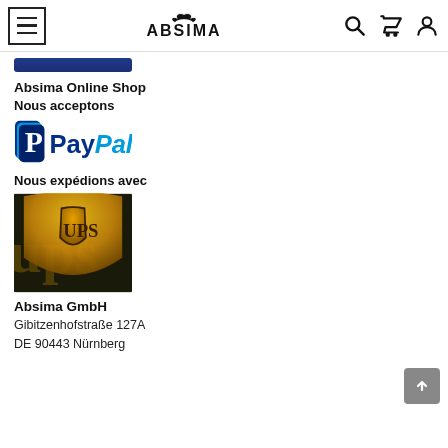Absima Online Shop — navigation header with hamburger menu, Absima logo, search, cart, and user icons
[Figure (logo): Partial bottom of a dark blue rounded rectangle element (partially cropped)]
Absima Online Shop
Nous acceptons
[Figure (logo): PayPal logo: blue P icon on the left, then 'Pay' in dark blue bold and 'Pal' in light blue bold italic text]
Nous expédions avec
[Figure (logo): UPS logo: gold/brown shield with 'UPS' text, golden gradient background]
Absima GmbH
Gibitzenhofstraße 127A
DE 90443 Nürnberg